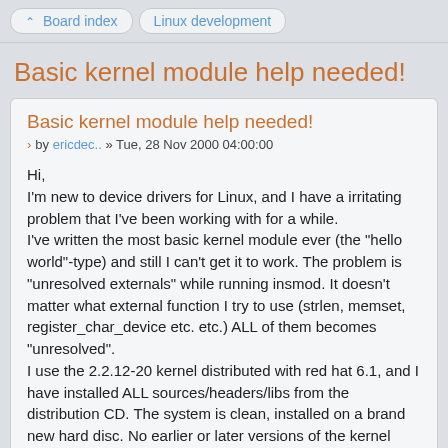Board index  Linux development
Basic kernel module help needed!
Basic kernel module help needed!
by ericdec.. » Tue, 28 Nov 2000 04:00:00
Hi,
I'm new to device drivers for Linux, and I have a irritating problem that I've been working with for a while.
I've written the most basic kernel module ever (the "hello world"-type) and still I can't get it to work. The problem is "unresolved externals" while running insmod. It doesn't matter what external function I try to use (strlen, memset, register_char_device etc. etc.) ALL of them becomes "unresolved".
I use the 2.2.12-20 kernel distributed with red hat 6.1, and I have installed ALL sources/headers/libs from the distribution CD. The system is clean, installed on a brand new hard disc. No earlier or later versions of the kernel even close to my computer!
Even more irritating, if I try to #include <asm/uaccess.h> (as one should if the kernel is later than 2.2.0) the module won't even compile. I get a bunch of undeclared functions (boot_cpu_data_R4d12d1d7 etc.)